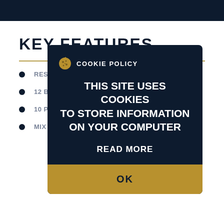KEY FEATURES
RES... OPP...
12 B...
10 P...
MIX... TIAL)
COOKIE POLICY
THIS SITE USES COOKIES TO STORE INFORMATION ON YOUR COMPUTER
READ MORE
OK